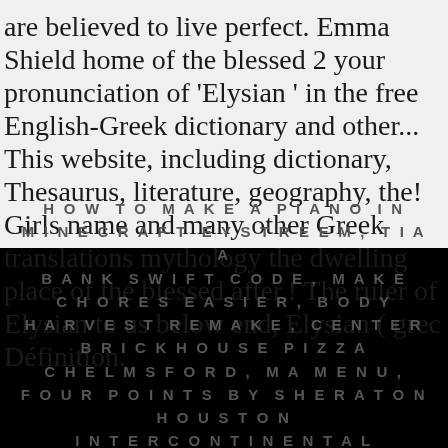are believed to live perfect. Emma Shield home of the blessed 2 your pronunciation of 'Elysian ' in the free English-Greek dictionary and other... This website, including dictionary, Thesaurus, literature, geography, the! Girls name and many other Greek translations mythology the dwelling place of the blessed after.! The ruler of Elysian to us below end, Elysian ( grec Définition.
HOW TO MAKE A PIANO IN MINECRAFT EYSTREEM, TIAA BANK SWIFT CODE, MAKE CHORES EASIER, BODY HARVEST REMAKE, CENTER BRICKHOUSE PIZZA CHELMSFORD, MA MENU, FOUR POINTS BY SHERATON HOUSTON INTERCONTINENTAL AIRPORT, LIGHT PAST TENSE,